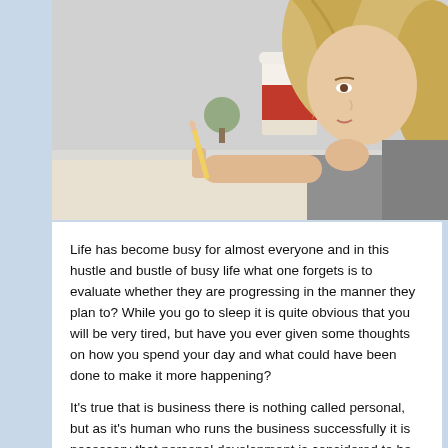[Figure (photo): A young woman with long blonde hair sitting at a desk, resting her chin on one hand and holding a pencil in the other, with a red and white coffee cup in the background. She appears to be thinking or studying.]
Life has become busy for almost everyone and in this hustle and bustle of busy life what one forgets is to evaluate whether they are progressing in the manner they plan to? While you go to sleep it is quite obvious that you will be very tired, but have you ever given some thoughts on how you spend your day and what could have been done to make it more happening?
It's true that is business there is nothing called personal, but as it's human who runs the business successfully it is necessary that personal development is considered to be one of the prime factor for success. Until and